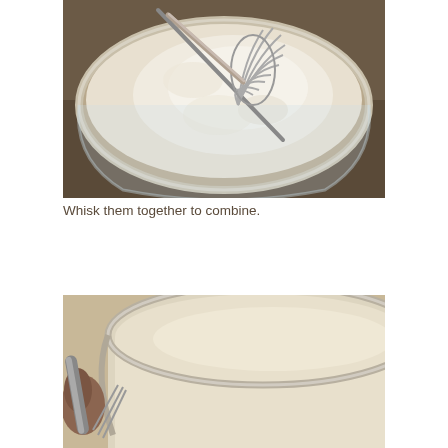[Figure (photo): Close-up photo of a glass bowl filled with white flour, with a metal wire whisk resting in it, viewed from above at an angle. The background is a blurred dark surface.]
Whisk them together to combine.
[Figure (photo): Partial close-up photo of a glass bowl with a creamy batter or mixture inside, with a metal whisk visible at left edge. A thumb is partially visible holding the bowl.]